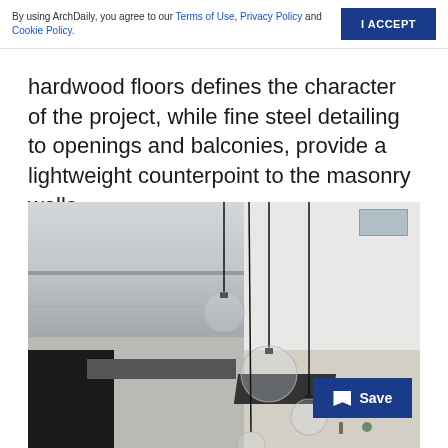By using ArchDaily, you agree to our Terms of Use, Privacy Policy and Cookie Policy. | I ACCEPT
hardwood floors defines the character of the project, while fine steel detailing to openings and balconies, provide a lightweight counterpoint to the masonry walls.
[Figure (photo): Interior architectural photograph showing pendant globe lights hanging from ceiling over a staircase/void area with glass balustrade, white walls, and tile accents visible below. A dark table surface is partially visible at the lower right.]